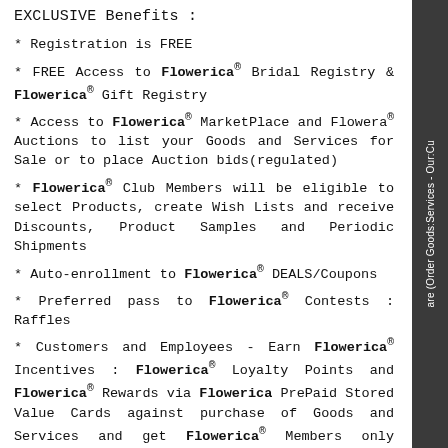EXCLUSIVE Benefits :
* Registration is FREE
* FREE Access to Flowerica® Bridal Registry & Flowerica® Gift Registry
* Access to Flowerica® MarketPlace and Flowera® Auctions to list your Goods and Services for Sale or to place Auction bids(regulated)
* Flowerica® Club Members will be eligible to select Products, create Wish Lists and receive Discounts, Product Samples and Periodic Shipments
* Auto-enrollment to Flowerica® DEALS/Coupons
* Preferred pass to Flowerica® Contests : Raffles
* Customers and Employees - Earn Flowerica® Incentives : Flowerica® Loyalty Points and Flowerica® Rewards via Flowerica PrePaid Stored Value Cards against purchase of Goods and Services and get Flowerica® Members only Pricing
* Priority invites to Flowerica® Fairs and Trade Shows
* Participation in Flowerica® Research, Flowerica® Surveys and Flowerica® Opinion Polls